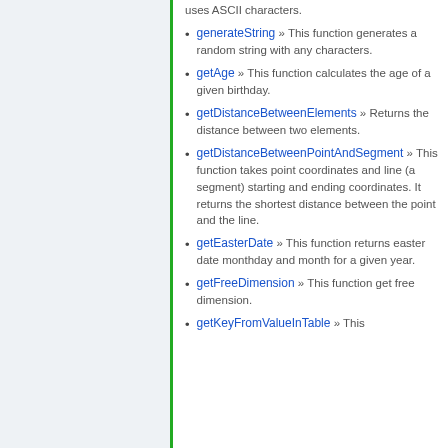uses ASCII characters.
generateString » This function generates a random string with any characters.
getAge » This function calculates the age of a given birthday.
getDistanceBetweenElements » Returns the distance between two elements.
getDistanceBetweenPointAndSegment » This function takes point coordinates and line (a segment) starting and ending coordinates. It returns the shortest distance between the point and the line.
getEasterDate » This function returns easter date monthday and month for a given year.
getFreeDimension » This function get free dimension.
getKeyFromValueInTable » This